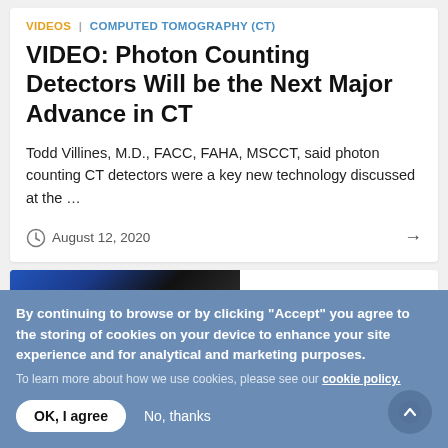VIDEOS | COMPUTED TOMOGRAPHY (CT)
VIDEO: Photon Counting Detectors Will be the Next Major Advance in CT
Todd Villines, M.D., FACC, FAHA, MSCCT, said photon counting CT detectors were a key new technology discussed at the …
August 12, 2020
[Figure (screenshot): Partial thumbnail image of a second article card, showing a dark blue gradient image on the left side]
By continuing to browse or by clicking "Accept" you agree to the storing of cookies on your device to enhance your site experience and for analytical and marketing purposes. To learn more about how we use cookies, please see our cookie policy.
OK, I agree   No, thanks